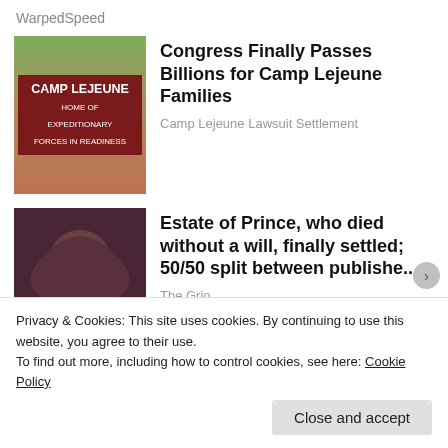WarpedSpeed
[Figure (photo): Camp Lejeune sign photo showing brick sign with text CAMP LEJEUNE HOME OF EXPEDITIONARY FORCES IN READINESS]
Congress Finally Passes Billions for Camp Lejeune Families
Camp Lejeune Lawsuit Settlement
[Figure (photo): Photo of Prince, musician, dark background]
Estate of Prince, who died without a will, finally settled; 50/50 split between publishe...
The Grio
Privacy & Cookies: This site uses cookies. By continuing to use this website, you agree to their use.
To find out more, including how to control cookies, see here: Cookie Policy
Close and accept